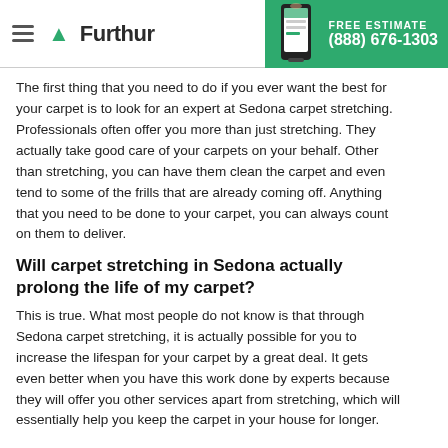Furthur — FREE ESTIMATE (888) 676-1303
The first thing that you need to do if you ever want the best for your carpet is to look for an expert at Sedona carpet stretching. Professionals often offer you more than just stretching. They actually take good care of your carpets on your behalf. Other than stretching, you can have them clean the carpet and even tend to some of the frills that are already coming off. Anything that you need to be done to your carpet, you can always count on them to deliver.
Will carpet stretching in Sedona actually prolong the life of my carpet?
This is true. What most people do not know is that through Sedona carpet stretching, it is actually possible for you to increase the lifespan for your carpet by a great deal. It gets even better when you have this work done by experts because they will offer you other services apart from stretching, which will essentially help you keep the carpet in your house for longer.